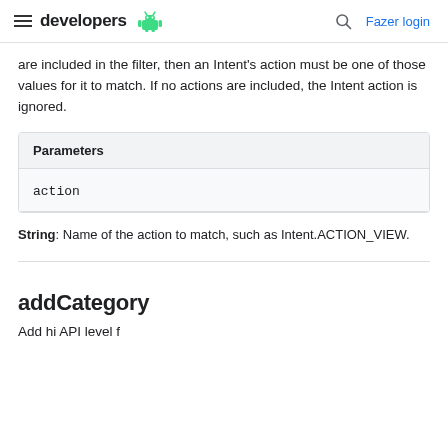developers
are included in the filter, then an Intent's action must be one of those values for it to match. If no actions are included, the Intent action is ignored.
| Parameters |
| --- |
| action |
String: Name of the action to match, such as Intent.ACTION_VIEW.
addCategory
Add hi API level f